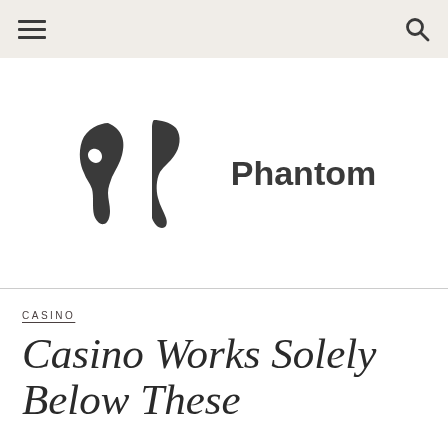☰ [menu] 🔍 [search]
[Figure (logo): Phantom logo with a dark phantom mask icon on the left and the word 'Phantom' in bold dark sans-serif text on the right]
CASINO
Casino Works Solely Below These